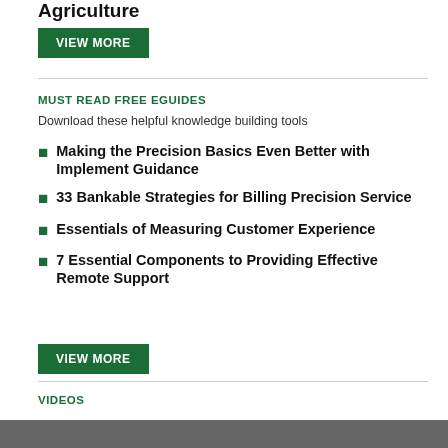Agriculture
VIEW MORE
MUST READ FREE EGUIDES
Download these helpful knowledge building tools
Making the Precision Basics Even Better with Implement Guidance
33 Bankable Strategies for Billing Precision Service
Essentials of Measuring Customer Experience
7 Essential Components to Providing Effective Remote Support
VIEW MORE
VIDEOS
[Figure (photo): Video thumbnail image strip at bottom of page]